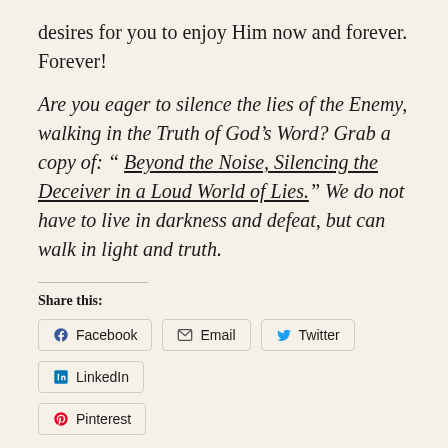desires for you to enjoy Him now and forever. Forever!
Are you eager to silence the lies of the Enemy, walking in the Truth of God's Word? Grab a copy of: “ Beyond the Noise, Silencing the Deceiver in a Loud World of Lies.” We do not have to live in darkness and defeat, but can walk in light and truth.
Share this:
Facebook | Email | Twitter | LinkedIn | Pinterest